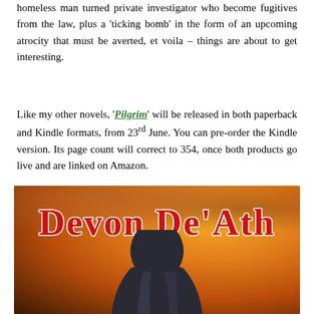homeless man turned private investigator who become fugitives from the law, plus a 'ticking bomb' in the form of an upcoming atrocity that must be averted, et voila – things are about to get interesting.
Like my other novels, 'Pilgrim' will be released in both paperback and Kindle formats, from 23rd June. You can pre-order the Kindle version. Its page count will correct to 354, once both products go live and are linked on Amazon.
[Figure (illustration): Book cover image with orange/red dramatic sky background showing the author name 'Devon De'Ath' in large red gothic/blackletter font with white outline, and a dark hooded figure visible at the bottom center of the image.]